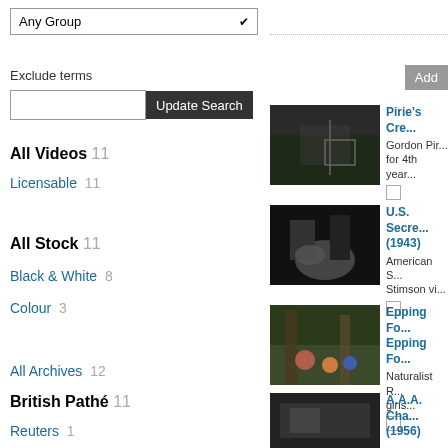Any Group (dropdown)
Exclude terms
Update Search (button)
All Videos 11
Licensable 11
All Stock 11
Black & White 8
Colour 3
All Archives 12
British Pathé 11
Reuters 1
Add (button)
[Figure (photo): Black and white photo of a gate in a field - Pirie's Creek thumbnail]
Pirie's Cre... Gordon Pir... for 4th year...
[Figure (photo): Black and white photo of people with a horse - U.S. Secret... (1943) thumbnail]
U.S. Secre... (1943) American S... Stimson vi...
[Figure (photo): Colour photo of children in a forest - Epping Forest thumbnail]
Epping Fo... Epping Fo... Naturalist R... girls...
[Figure (photo): Black and white photo - A.A.A. Cha... (1956) thumbnail]